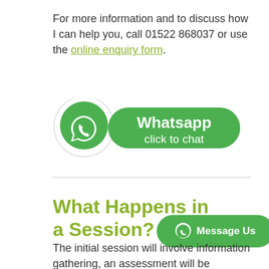For more information and to discuss how I can help you, call 01522 868037 or use the online enquiry form.
[Figure (illustration): WhatsApp click to chat button with green rounded rectangle and WhatsApp logo]
What Happens in a Session?
The initial session will involve information gathering, an assessment will be completed